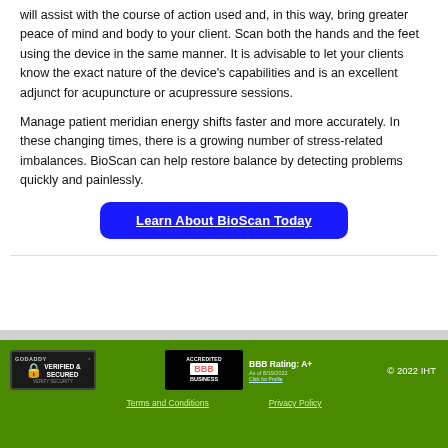will assist with the course of action used and, in this way, bring greater peace of mind and body to your client. Scan both the hands and the feet using the device in the same manner. It is advisable to let your clients know the exact nature of the device's capabilities and is an excellent adjunct for acupuncture or acupressure sessions.
Manage patient meridian energy shifts faster and more accurately. In these changing times, there is a growing number of stress-related imbalances. BioScan can help restore balance by detecting problems quickly and painlessly.
Learn About BioScan Today
[Figure (logo): GoDaddy Verified & Secured badge]
[Figure (logo): BBB Accredited Business badge with Rating: A+ as of 8/19/2022]
© 2022 IHT
Terms and Conditions    Privacy Policy